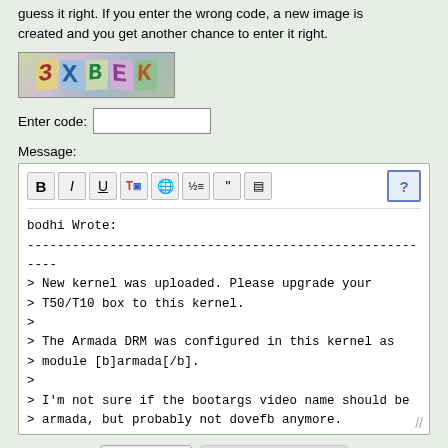guess it right. If you enter the wrong code, a new image is created and you get another chance to enter it right.
[Figure (other): CAPTCHA image showing distorted characters: 3XBEK]
Enter code:
Message:
[Figure (screenshot): Rich text editor toolbar with buttons: Bold (B), Italic (I), Underline (U), color text, link, list, quote, align, and help (?)]
bodhi Wrote:
--------------------------------------------------------
> New kernel was uploaded. Please upgrade your
> T50/T10 box to this kernel.
>
> The Armada DRM was configured in this kernel as
> module [b]armada[/b].
>
> I'm not sure if the bootargs video name should be
> armada, but probably not dovefb anymore.
>
> [code]
> Kernel command line: rootdelay=5 root=/dev/sdb1
> usb0Mode=host usb1Mode=host
> video=dovefb:lcd0:1024x600-16@60-edid,lcd1:1024x768-